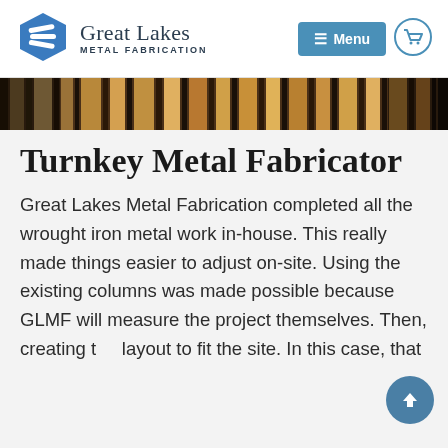Great Lakes Metal Fabrication — Menu
[Figure (photo): Horizontal strip photo showing metal fabrication materials — wrought iron bars and metal rods in a workshop setting, brown and dark tones.]
Turnkey Metal Fabricator
Great Lakes Metal Fabrication completed all the wrought iron metal work in-house. This really made things easier to adjust on-site. Using the existing columns was made possible because GLMF will measure the project themselves. Then, creating the layout to fit the site. In this case, that